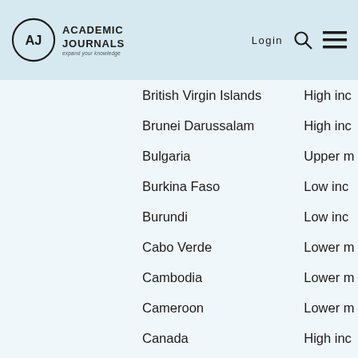Academic Journals — expand your knowledge | Login
| Country | Income Group |
| --- | --- |
| British Virgin Islands | High inc |
| Brunei Darussalam | High inc |
| Bulgaria | Upper m |
| Burkina Faso | Low inc |
| Burundi | Low inc |
| Cabo Verde | Lower m |
| Cambodia | Lower m |
| Cameroon | Lower m |
| Canada | High inc |
| Cayman Islands | High inc |
| Central African Republic | Low inc |
| Chad | Low inc |
| Channel Islands | High inc |
| Chile | High inc |
| China | Upper m |
| Colombia | Upper m |
| Comoros | Low inc |